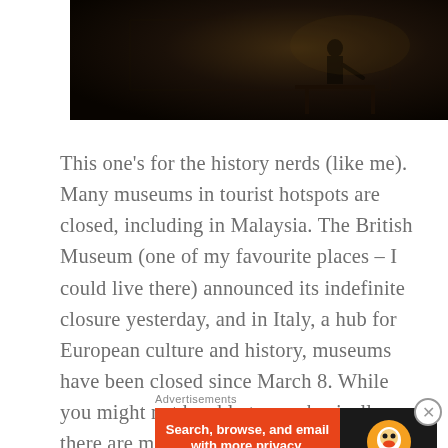[Figure (photo): Dark museum interior photograph showing silhouette of person/figure against dimly lit background]
This one's for the history nerds (like me). Many museums in tourist hotspots are closed, including in Malaysia. The British Museum (one of my favourite places – I could live there) announced its indefinite closure yesterday, and in Italy, a hub for European culture and history, museums have been closed since March 8. While you might not be able to go physically, there are many museums offering detailed virtual tours of their premises and
Advertisements
[Figure (screenshot): DuckDuckGo advertisement banner: orange left section with 'Search, browse, and email with more privacy. All in One Free App' and dark right section with DuckDuckGo duck logo]